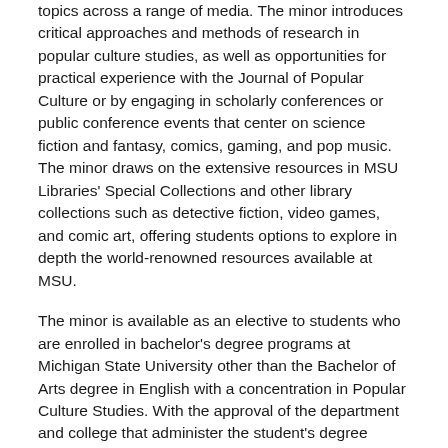topics across a range of media.  The minor introduces critical approaches and methods of research in popular culture studies, as well as opportunities for practical experience with the Journal of Popular Culture or by engaging in scholarly conferences or public conference events that center on science fiction and fantasy, comics, gaming, and pop music.  The minor draws on the extensive resources in MSU Libraries' Special Collections and other library collections such as detective fiction, video games, and comic art, offering students options to explore in depth the world-renowned resources available at MSU.
The minor is available as an elective to students who are enrolled in bachelor's degree programs at Michigan State University other than the Bachelor of Arts degree in English with a concentration in Popular Culture Studies. With the approval of the department and college that administer the student's degree program, the courses that are used to satisfy the minor may also be used to satisfy the requirements for the bachelor's degree.
Students who plan to apply to the program should consult the undergraduate advisor in the Department of English.
Requirements for the Minor in Popular Culture Studies